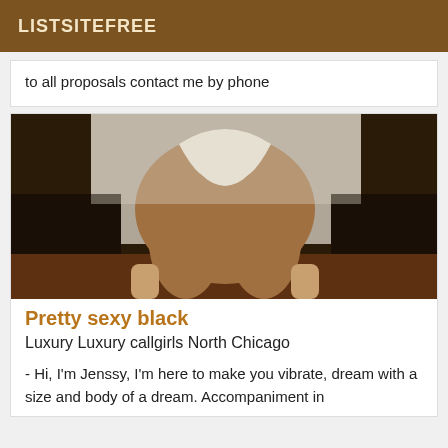LISTSITEFREE
to all proposals contact me by phone
[Figure (photo): A photograph used in a personal classified listing]
Pretty sexy black
Luxury Luxury callgirls North Chicago
- Hi, I'm Jenssy, I'm here to make you vibrate, dream with a size and body of a dream. Accompaniment in